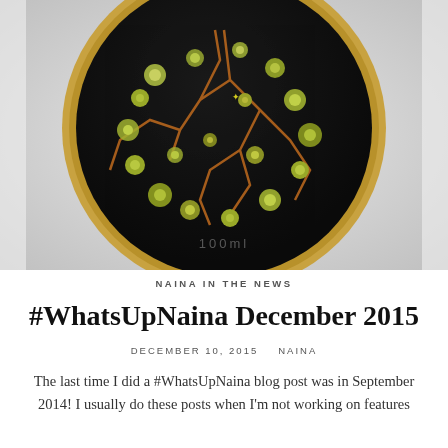[Figure (photo): Top-down close-up photograph of a round dark chocolate cake or dessert in a gold/copper-rimmed tin. The dark surface is decorated with small green/white flower buds and has a cracked kintsugi-like pattern with copper/gold-colored cracks. The background is light grey/white. Text '100ml' or similar is partially visible on the container rim.]
NAINA IN THE NEWS
#WhatsUpNaina December 2015
DECEMBER 10, 2015    NAINA
The last time I did a #WhatsUpNaina blog post was in September 2014! I usually do these posts when I'm not working on features